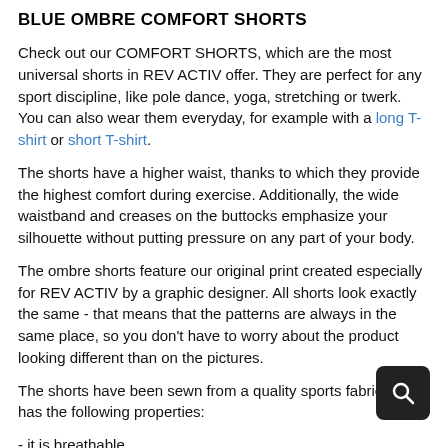BLUE OMBRE COMFORT SHORTS
Check out our COMFORT SHORTS, which are the most universal shorts in REV ACTIV offer. They are perfect for any sport discipline, like pole dance, yoga, stretching or twerk. You can also wear them everyday, for example with a long T-shirt or short T-shirt.
The shorts have a higher waist, thanks to which they provide the highest comfort during exercise. Additionally, the wide waistband and creases on the buttocks emphasize your silhouette without putting pressure on any part of your body.
The ombre shorts feature our original print created especially for REV ACTIV by a graphic designer. All shorts look exactly the same - that means that the patterns are always in the same place, so you don't have to worry about the product looking different than on the pictures.
The shorts have been sewn from a quality sports fabric, which has the following properties:
- it is breathable
- dries quickly